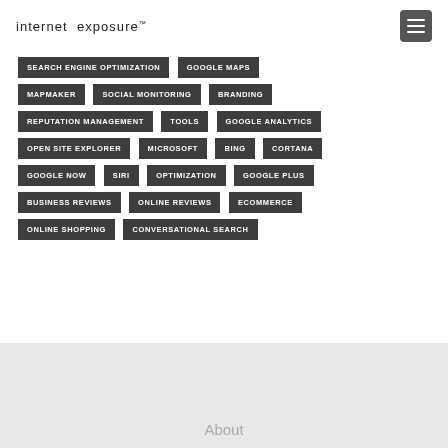internet exposure™
SEARCH ENGINE OPTIMIZATION
GOOGLE MAPS
MAPMAKER
SOCIAL MONITORING
BRANDING
REPUTATION MANAGEMENT
TOOLS
GOOGLE ANALYTICS
OPEN SITE EXPLORER
MICROSOFT
BING
CORTANA
GOOGLE NOW
SIRI
OPTIMIZATION
GOOGLE PLUS
BUSINESS REVIEWS
ONLINE REVIEWS
ECOMMERCE
ONLINE SHOPPING
CONVERSATIONAL SEARCH
About